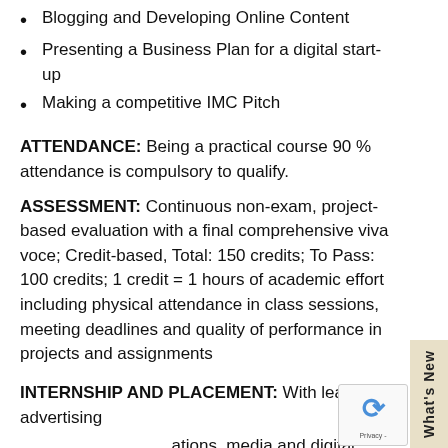Blogging and Developing Online Content
Presenting a Business Plan for a digital start-up
Making a competitive IMC Pitch
ATTENDANCE: Being a practical course 90 % attendance is compulsory to qualify.
ASSESSMENT: Continuous non-exam, project-based evaluation with a final comprehensive viva voce; Credit-based, Total: 150 credits; To Pass: 100 credits; 1 credit = 1 hours of academic effort including physical attendance in class sessions, meeting deadlines and quality of performance in projects and assignments
INTERNSHIP AND PLACEMENT: With leading advertising organisations, media and digital agencies, start-ups and corporates, based on student's aptitude and interview
COURSE DELIVERY: Commits follows the globally acclaimed and adopted SPADE technique for optimum